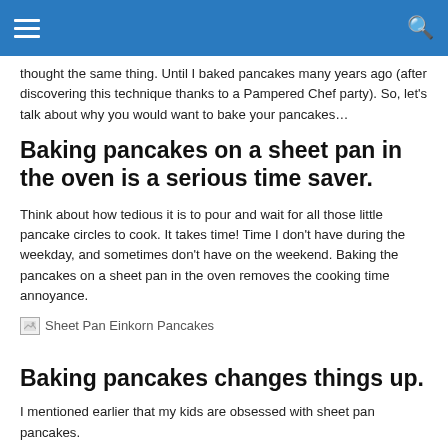Navigation bar with hamburger menu and search icon
thought the same thing. Until I baked pancakes many years ago (after discovering this technique thanks to a Pampered Chef party). So, let's talk about why you would want to bake your pancakes…
Baking pancakes on a sheet pan in the oven is a serious time saver.
Think about how tedious it is to pour and wait for all those little pancake circles to cook. It takes time! Time I don't have during the weekday, and sometimes don't have on the weekend. Baking the pancakes on a sheet pan in the oven removes the cooking time annoyance.
[Figure (photo): Sheet Pan Einkorn Pancakes image placeholder]
Baking pancakes changes things up.
I mentioned earlier that my kids are obsessed with sheet pan pancakes.